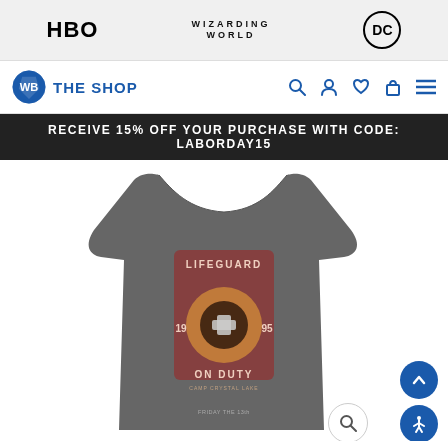[Figure (screenshot): Top brand navigation bar with HBO, WIZARDING WORLD, and DC logos on a light gray background]
[Figure (screenshot): WB The Shop navigation bar with search, user, wishlist, cart, and menu icons in blue]
RECEIVE 15% OFF YOUR PURCHASE WITH CODE: LABORDAY15
[Figure (photo): Dark gray tank top featuring a Lifeguard On Duty graphic with a life preserver ring design, Friday the 13th branding]